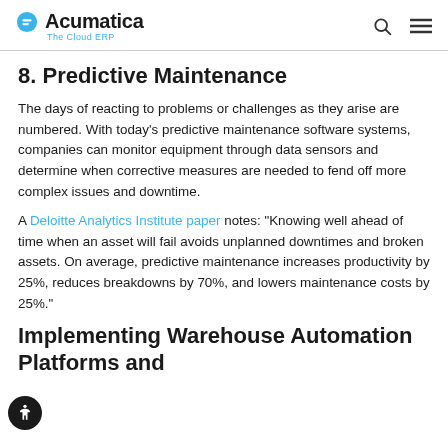Acumatica The Cloud ERP
8. Predictive Maintenance
The days of reacting to problems or challenges as they arise are numbered. With today’s predictive maintenance software systems, companies can monitor equipment through data sensors and determine when corrective measures are needed to fend off more complex issues and downtime.
A Deloitte Analytics Institute paper notes: “Knowing well ahead of time when an asset will fail avoids unplanned downtimes and broken assets. On average, predictive maintenance increases productivity by 25%, reduces breakdowns by 70%, and lowers maintenance costs by 25%.”
Implementing Warehouse Automation Platforms and